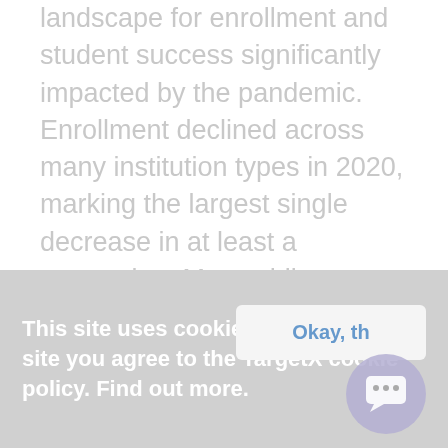landscape for enrollment and student success significantly impacted by the pandemic. Enrollment declined across many institution types in 2020, marking the largest single decrease in at least a generation. Meanwhile, because of the effects of the pandemic, the nationwide student retention rate dropped by a full percentage point.
Total Enrollment enables institutions to
This site uses cookies. By using this site you agree to the TargetX cookie policy. Find out more.